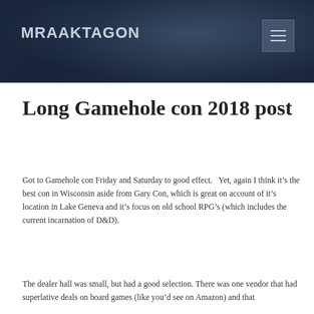MRAAKTAGON
Long Gamehole con 2018 post
Got to Gamehole con Friday and Saturday to good effect.   Yet, again I think it’s the best con in Wisconsin aside from Gary Con, which is great on account of it’s location in Lake Geneva and it’s focus on old school RPG’s (which includes the current incarnation of D&D).
The dealer hall was small, but had a good selection. There was one vendor that had superlative deals on board games (like you’d see on Amazon) and that